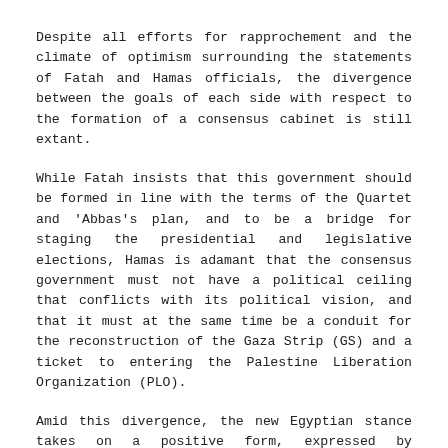Despite all efforts for rapprochement and the climate of optimism surrounding the statements of Fatah and Hamas officials, the divergence between the goals of each side with respect to the formation of a consensus cabinet is still extant.
While Fatah insists that this government should be formed in line with the terms of the Quartet and 'Abbas's plan, and to be a bridge for staging the presidential and legislative elections, Hamas is adamant that the consensus government must not have a political ceiling that conflicts with its political vision, and that it must at the same time be a conduit for the reconstruction of the Gaza Strip (GS) and a ticket to entering the Palestine Liberation Organization (PLO).
Amid this divergence, the new Egyptian stance takes on a positive form, expressed by President Muhammad Mursi, in a manner that would push the forming of a consensus government forward – albeit under direct guarantees from Cairo.
By contrast, the American vetoed “the negotiation between the Israelis and the Palestinians” unless “all Palestinians are